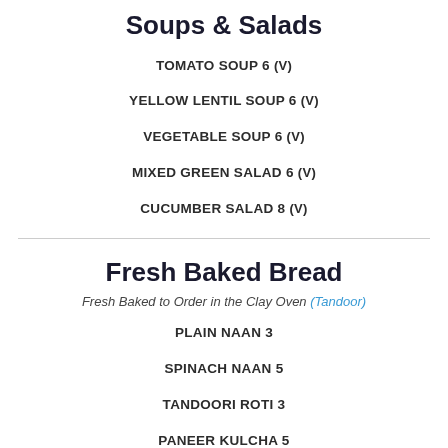Soups & Salads
TOMATO SOUP 6 (v)
YELLOW LENTIL SOUP 6 (v)
VEGETABLE SOUP 6 (v)
MIXED GREEN SALAD 6 (v)
CUCUMBER SALAD 8 (v)
Fresh Baked Bread
Fresh Baked to Order in the Clay Oven (Tandoor)
PLAIN NAAN 3
SPINACH NAAN 5
TANDOORI ROTI 3
PANEER KULCHA 5
BREAD BASKET 12 (Garlic Naan, Aloo Paratha, Plain Naan)
GARLIC NAAN 5
KASHMIRI NAAN 5.50
ALOO NAAN 5